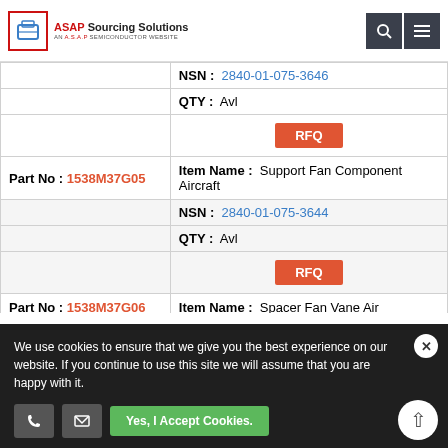ASAP Sourcing Solutions - AN A.S.A.P SEMICONDUCTOR WEBSITE
| Part No | Item Name / NSN / QTY |
| --- | --- |
|  | NSN: 2840-01-075-3646 | QTY: Avl | RFQ |
| Part No: 1538M37G05 | Item Name: Support Fan Component Aircraft | NSN: 2840-01-075-3644 | QTY: Avl | RFQ |
| Part No: 1538M37G06 | Item Name: Spacer Fan Vane Air | NSN: 2840-01-075-3648 | QTY: Avl | RFQ |
| Part No: 1538M37G09 | Item Name: Spacer Outer Fan St | NSN: 2840-01-076-2425 |
We use cookies to ensure that we give you the best experience on our website. If you continue to use this site we will assume that you are happy with it.